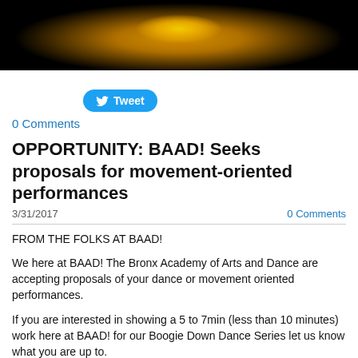[Figure (photo): Dark background with golden/yellow glowing object (spinning top or similar) centered]
Tweet
0 Comments
OPPORTUNITY: BAAD! Seeks proposals for movement-oriented performances
3/31/2017    0 Comments
FROM THE FOLKS AT BAAD!
We here at BAAD! The Bronx Academy of Arts and Dance are accepting proposals of your dance or movement oriented performances.
If you are interested in showing a 5 to 7min (less than 10 minutes) work here at BAAD! for our Boogie Down Dance Series let us know what you are up to.